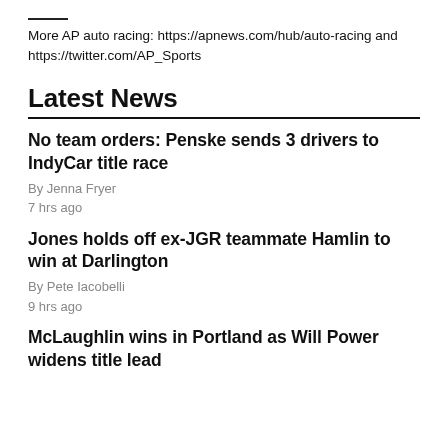More AP auto racing: https://apnews.com/hub/auto-racing and https://twitter.com/AP_Sports
Latest News
No team orders: Penske sends 3 drivers to IndyCar title race
By Jenna Fryer
7 hrs ago
Jones holds off ex-JGR teammate Hamlin to win at Darlington
By Pete Iacobelli
9 hrs ago
McLaughlin wins in Portland as Will Power widens title lead